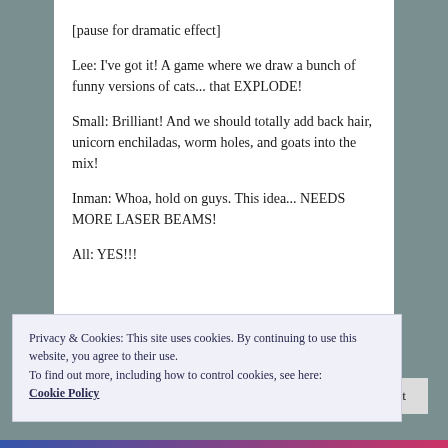[pause for dramatic effect]
Lee: I've got it! A game where we draw a bunch of funny versions of cats... that EXPLODE!
Small: Brilliant! And we should totally add back hair, unicorn enchiladas, worm holes, and goats into the mix!
Inman: Whoa, hold on guys. This idea... NEEDS MORE LASER BEAMS!
All: YES!!!
Privacy & Cookies: This site uses cookies. By continuing to use this website, you agree to their use.
To find out more, including how to control cookies, see here: Cookie Policy
Close and accept